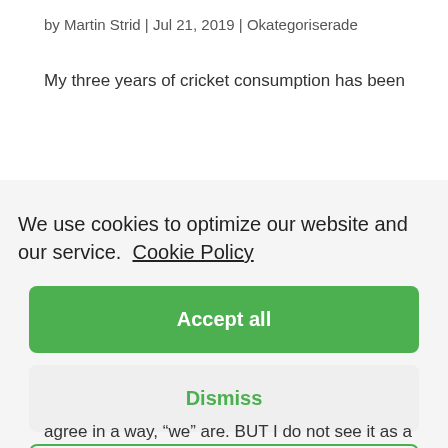by Martin Strid | Jul 21, 2019 | Okategoriserade
My three years of cricket consumption has been
We use cookies to optimize our website and our service. Cookie Policy
Accept all
Dismiss
Preferences
agree in a way, "we" are. BUT I do not see it as a